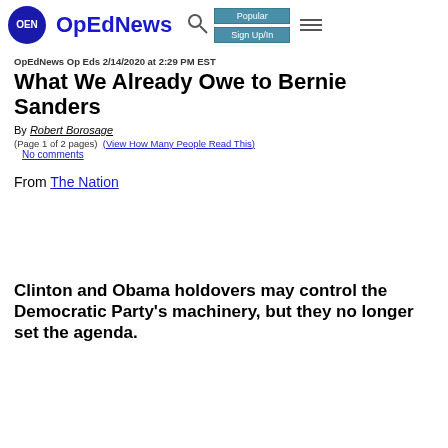OpEdNews — Popular, Sign Up/In, hamburger menu
OpEdNews Op Eds 2/14/2020 at 2:29 PM EST
What We Already Owe to Bernie Sanders
By Robert Borosage
(Page 1 of 2 pages)  (View How Many People Read This)
No comments
From The Nation
Clinton and Obama holdovers may control the Democratic Party's machinery, but they no longer set the agenda.